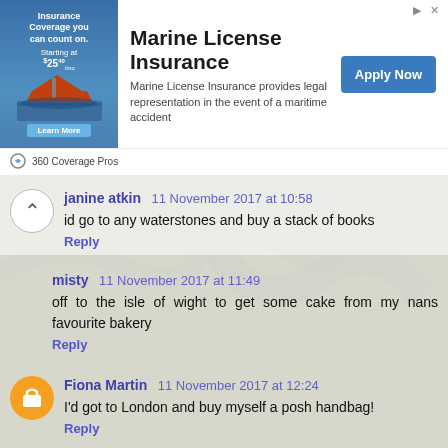[Figure (infographic): Marine License Insurance advertisement banner with boat image, '360 Coverage Pros' sponsor, Apply Now button]
janine atkin  11 November 2017 at 10:58
id go to any waterstones and buy a stack of books
Reply
misty  11 November 2017 at 11:49
off to the isle of wight to get some cake from my nans favourite bakery
Reply
Fiona Martin  11 November 2017 at 12:24
I'd got to London and buy myself a posh handbag!
Reply